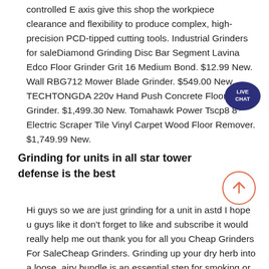controlled E axis give this shop the workpiece clearance and flexibility to produce complex, high-precision PCD-tipped cutting tools. Industrial Grinders for saleDiamond Grinding Disc Bar Segment Lavina Edco Floor Grinder Grit 16 Medium Bond. $12.99 New. Wall RBG712 Mower Blade Grinder. $549.00 New. TECHTONGDA 220v Hand Push Concrete Floor Grinder. $1,499.30 New. Tomahawk Power Tscp8 8" Electric Scraper Tile Vinyl Carpet Wood Floor Remover. $1,749.99 New.
[Figure (other): Live chat speech bubble icon with text LIVE CHAT]
Grinding for units in all star tower defense is the best
[Figure (other): Scroll-to-top button: circle with upward arrow]
Hi guys so we are just grinding for a unit in astd I hope u guys like it don't forget to like and subscribe it would really help me out thank you for all you Cheap Grinders For SaleCheap Grinders. Grinding up your dry herb into a loose, airy bundle is an essential step for smoking or vaporizing. The quickest and most effective way to